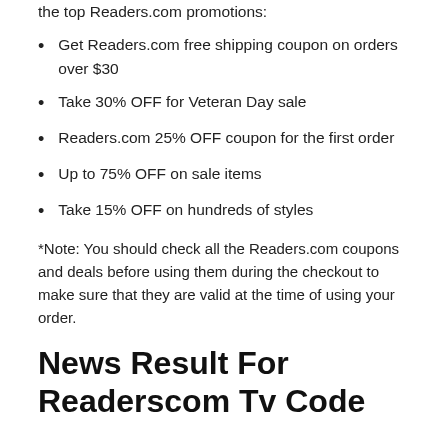the top Readers.com promotions:
Get Readers.com free shipping coupon on orders over $30
Take 30% OFF for Veteran Day sale
Readers.com 25% OFF coupon for the first order
Up to 75% OFF on sale items
Take 15% OFF on hundreds of styles
*Note: You should check all the Readers.com coupons and deals before using them during the checkout to make sure that they are valid at the time of using your order.
News Result For Readerscom Tv Code